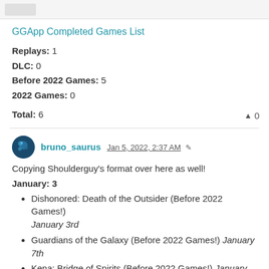GGApp Completed Games List
Replays: 1
DLC: 0
Before 2022 Games: 5
2022 Games: 0
Total: 6
bruno_saurus Jan 5, 2022, 2:37 AM
Copying Shoulderguy's format over here as well!
January: 3
Dishonored: Death of the Outsider (Before 2022 Games!) January 3rd
Guardians of the Galaxy (Before 2022 Games!) January 7th
Kena: Bridge of Spirits (Before 2022 Games!) January 15th
February: 2